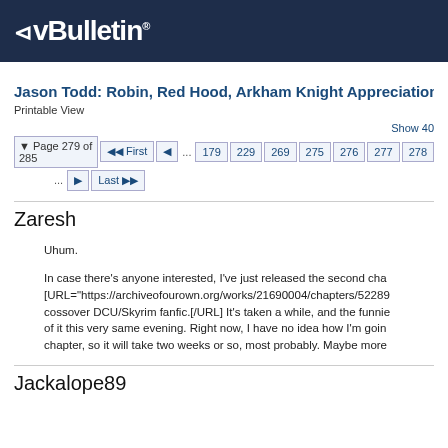vBulletin
Jason Todd: Robin, Red Hood, Arkham Knight Appreciation 2019
Printable View
Show 40
Page 279 of 285  First  ...  179  229  269  275  276  277  278  ...  Last
Zaresh
Uhum.

In case there's anyone interested, I've just released the second cha [URL="https://archiveofourown.org/works/21690004/chapters/52289 cossover DCU/Skyrim fanfic.[/URL] It's taken a while, and the funnie of it this very same evening. Right now, I have no idea how I'm goin chapter, so it will take two weeks or so, most probably. Maybe more
Jackalope89